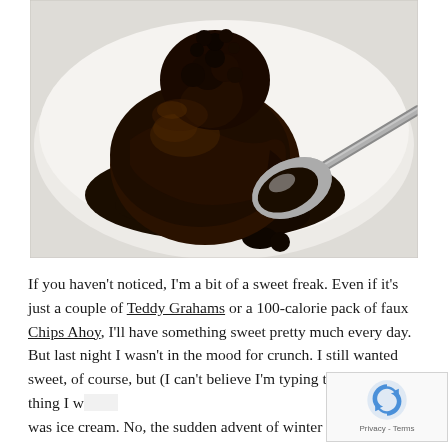[Figure (photo): Close-up photo of a rich chocolate dessert (lava cake or truffle) on a white plate with a silver spoon, covered in glossy dark chocolate sauce]
If you haven't noticed, I'm a bit of a sweet freak. Even if it's just a couple of Teddy Grahams or a 100-calorie pack of faux Chips Ahoy, I'll have something sweet pretty much every day. But last night I wasn't in the mood for crunch. I still wanted sweet, of course, but (I can't believe I'm typing this) the last thing I wanted was ice cream. No, the sudden advent of winter made me long